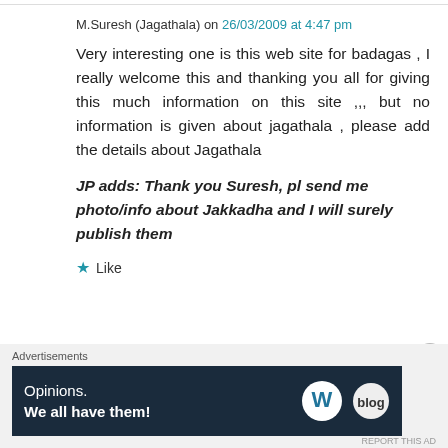M.Suresh (Jagathala) on 26/03/2009 at 4:47 pm
Very interesting one is this web site for badagas , I really welcome this and thanking you all for giving this much information on this site ,,, but no information is given about jagathala , please add the details about Jagathala
JP adds: Thank you Suresh, pl send me photo/info about Jakkadha and I will surely publish them
Like
Advertisements
[Figure (screenshot): Advertisement banner with dark navy background. Text reads 'Opinions. We all have them!' with WordPress logo and another circular logo on the right.]